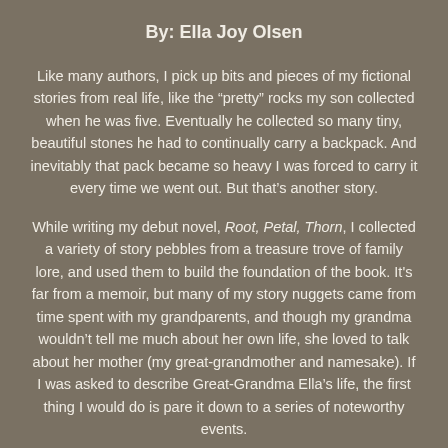By: Ella Joy Olsen
Like many authors, I pick up bits and pieces of my fictional stories from real life, like the “pretty” rocks my son collected when he was five. Eventually he collected so many tiny, beautiful stones he had to continually carry a backpack. And inevitably that pack became so heavy I was forced to carry it every time we went out. But that’s another story.
While writing my debut novel, Root, Petal, Thorn, I collected a variety of story pebbles from a treasure trove of family lore, and used them to build the foundation of the book. It's far from a memoir, but many of my story nuggets came from time spent with my grandparents, and though my grandma wouldn’t tell me much about her own life, she loved to talk about her mother (my great-grandmother and namesake). If I was asked to describe Great-Grandma Ella’s life, the first thing I would do is pare it down to a series of noteworthy events.